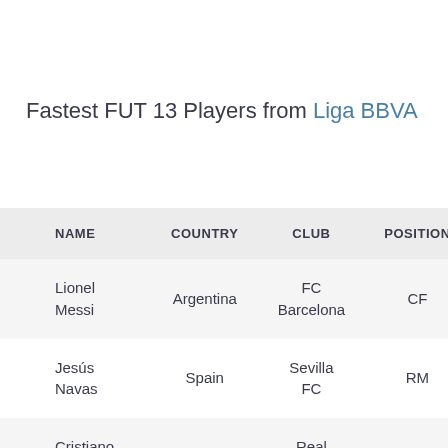Fastest FUT 13 Players from Liga BBVA
| NAME | COUNTRY | CLUB | POSITION | PACE | RATING |
| --- | --- | --- | --- | --- | --- |
| Lionel Messi | Argentina | FC Barcelona | CF | 93 | 94 |
| Jesús Navas | Spain | Sevilla FC | RM | 92 | 85 |
| Cristiano Ronaldo | Portugal | Real Madrid | LW | 92 | 92 |